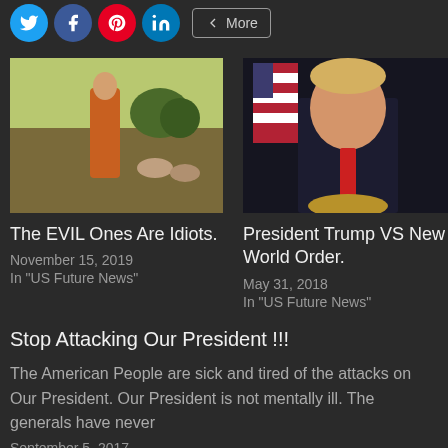[Figure (other): Social share buttons: Twitter, Facebook, Pinterest, LinkedIn, and More button]
[Figure (photo): Medieval painting showing a figure in orange robe with animals in background]
The EVIL Ones Are Idiots.
November 15, 2019
In "US Future News"
[Figure (photo): Photo of President Trump sitting at a desk with American flags in background]
President Trump VS New World Order.
May 31, 2018
In "US Future News"
Stop Attacking Our President !!!
The American People are sick and tired of the attacks on Our President. Our President is not mentally ill. The generals have never
September 5, 2017